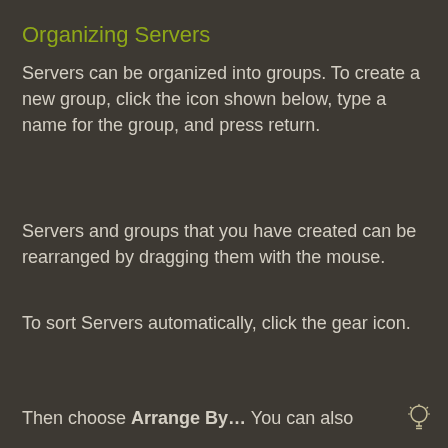Organizing Servers
Servers can be organized into groups. To create a new group, click the icon shown below, type a name for the group, and press return.
Servers and groups that you have created can be rearranged by dragging them with the mouse.
To sort Servers automatically, click the gear icon.
Then choose Arrange By... You can also
[Figure (illustration): Small lightbulb icon in bottom right corner]